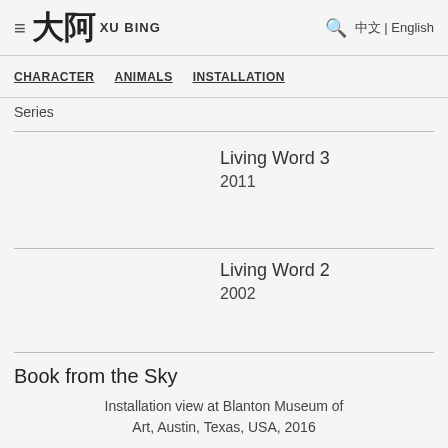≡ 大阿 XU BING 🔍 中文 | English
CHARACTER   ANIMALS   INSTALLATION
Series
Living Word 3
2011
Living Word 2
2002
Book from the Sky
Installation view at Blanton Museum of Art, Austin, Texas, USA, 2016